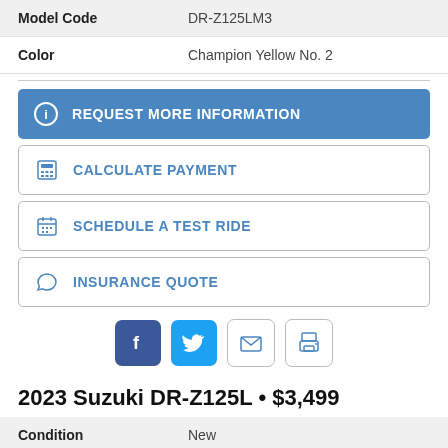| Field | Value |
| --- | --- |
| Model Code | DR-Z125LM3 |
| Color | Champion Yellow No. 2 |
REQUEST MORE INFORMATION
CALCULATE PAYMENT
SCHEDULE A TEST RIDE
INSURANCE QUOTE
[Figure (other): Social sharing icons: Facebook, Twitter, Email, Print]
2023 Suzuki DR-Z125L • $3,499
| Field | Value |
| --- | --- |
| Condition | New |